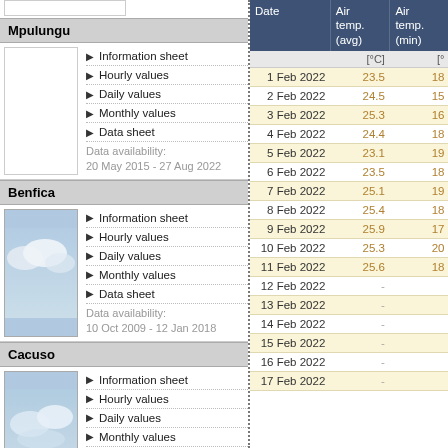Mpulungu
Information sheet
Hourly values
Daily values
Monthly values
Data sheet
Data availability:
20 May 2015 - 27 Aug 2022
Benfica
Information sheet
Hourly values
Daily values
Monthly values
Data sheet
Data availability:
10 Oct 2009 - 12 Jan 2018
Cacuso
Information sheet
Hourly values
Daily values
Monthly values
Data sheet
Data availability:
15 Apr 2014 - 9 Mar 2016
| Date | Air temp. (avg) | Air temp. (min) |
| --- | --- | --- |
|  | [°C] | [°... |
| 1 Feb 2022 | 23.5 | 18... |
| 2 Feb 2022 | 24.5 | 15... |
| 3 Feb 2022 | 25.3 | 16... |
| 4 Feb 2022 | 24.4 | 18... |
| 5 Feb 2022 | 23.1 | 19... |
| 6 Feb 2022 | 23.5 | 18... |
| 7 Feb 2022 | 25.1 | 19... |
| 8 Feb 2022 | 25.4 | 18... |
| 9 Feb 2022 | 25.9 | 17... |
| 10 Feb 2022 | 25.3 | 20... |
| 11 Feb 2022 | 25.6 | 18... |
| 12 Feb 2022 | - |  |
| 13 Feb 2022 | - |  |
| 14 Feb 2022 | - |  |
| 15 Feb 2022 | - |  |
| 16 Feb 2022 | - |  |
| 17 Feb 2022 | - |  |